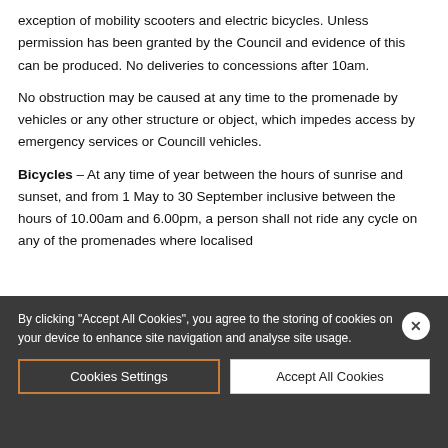exception of mobility scooters and electric bicycles. Unless permission has been granted by the Council and evidence of this can be produced. No deliveries to concessions after 10am.
No obstruction may be caused at any time to the promenade by vehicles or any other structure or object, which impedes access by emergency services or Councill vehicles.
Bicycles – At any time of year between the hours of sunrise and sunset, and from 1 May to 30 September inclusive between the hours of 10.00am and 6.00pm, a person shall not ride any cycle on any of the promenades where localised
By clicking "Accept All Cookies", you agree to the storing of cookies on your device to enhance site navigation and analyse site usage.
Cookies Settings
Accept All Cookies